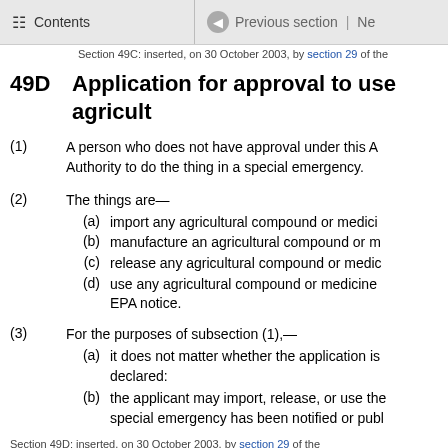Contents | Previous section | Ne
Section 49C: inserted, on 30 October 2003, by section 29 of the
49D Application for approval to use agricult
(1) A person who does not have approval under this A Authority to do the thing in a special emergency.
(2) The things are—
(a) import any agricultural compound or medici
(b) manufacture an agricultural compound or m
(c) release any agricultural compound or medic
(d) use any agricultural compound or medicine EPA notice.
(3) For the purposes of subsection (1),—
(a) it does not matter whether the application is declared:
(b) the applicant may import, release, or use the special emergency has been notified or publ
Section 49D: inserted, on 30 October 2003, by section 29 of the
Section 49D(2)(d): amended, on 1 December 2017, by section